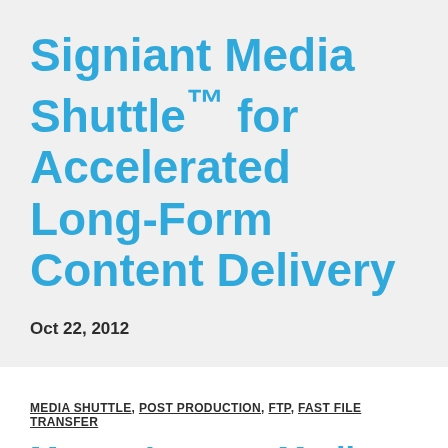Signiant Media Shuttle™ for Accelerated Long-Form Content Delivery
Oct 22, 2012
MEDIA SHUTTLE, POST PRODUCTION, FTP, FAST FILE TRANSFER
Moves Largest Media Files Anywhere in the World, Faster and More Reliably in Minutes or Hours,